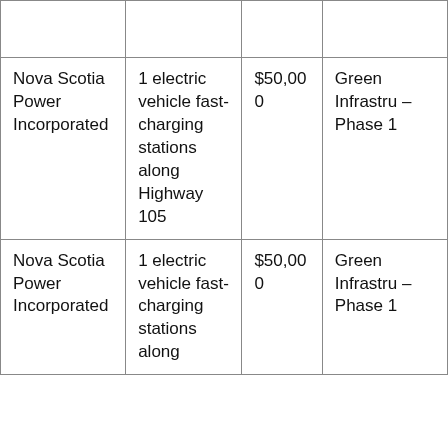|  |  |  |  |
| Nova Scotia Power Incorporated | 1 electric vehicle fast-charging stations along Highway 105 | $50,000 | Green Infrastru – Phase 1 |
| Nova Scotia Power Incorporated | 1 electric vehicle fast-charging stations along | $50,000 | Green Infrastru – Phase 1 |